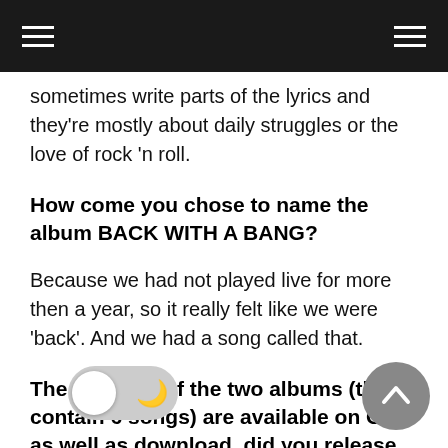≡  ≡
sometimes write parts of the lyrics and they're mostly about daily struggles or the love of rock 'n roll.
How come you chose to name the album BACK WITH A BANG?
Because we had not played live for more then a year, so it really felt like we were 'back'. And we had a song called that.
The first part of the two albums (that contain 6 songs) are available on CD as well as download, did you release the album on your own or through a label?